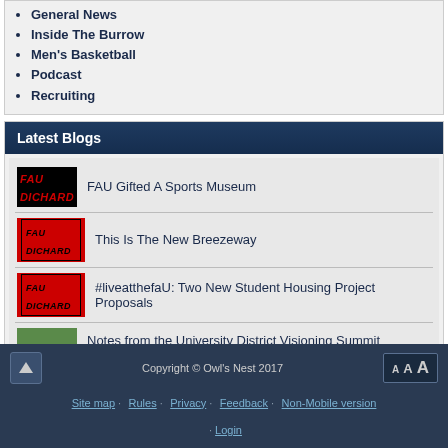General News
Inside The Burrow
Men's Basketball
Podcast
Recruiting
Latest Blogs
FAU Gifted A Sports Museum
This Is The New Breezeway
#liveatthefaU: Two New Student Housing Project Proposals
Notes from the University District Visioning Summit Repor…
More on The Schmidt
Copyright © Owl's Nest 2017 · Site map · Rules · Privacy · Feedback · Non-Mobile version · Login